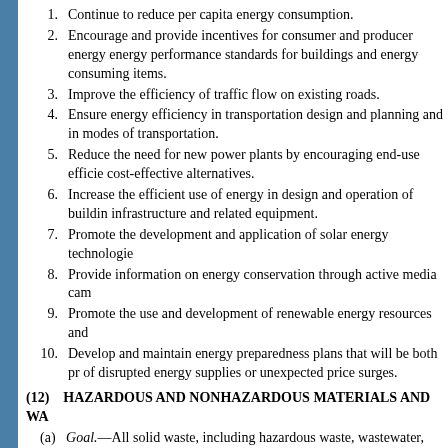1. Continue to reduce per capita energy consumption.
2. Encourage and provide incentives for consumer and producer energy energy performance standards for buildings and energy consuming items.
3. Improve the efficiency of traffic flow on existing roads.
4. Ensure energy efficiency in transportation design and planning and in modes of transportation.
5. Reduce the need for new power plants by encouraging end-use efficie cost-effective alternatives.
6. Increase the efficient use of energy in design and operation of buildin infrastructure and related equipment.
7. Promote the development and application of solar energy technologie
8. Provide information on energy conservation through active media cam
9. Promote the use and development of renewable energy resources and
10. Develop and maintain energy preparedness plans that will be both pr of disrupted energy supplies or unexpected price surges.
(12) HAZARDOUS AND NONHAZARDOUS MATERIALS AND WA
(a) Goal.—All solid waste, including hazardous waste, wastewater, and managed, and the use of landfills shall be eventually eliminated.
(b) Policies.—
1. By 1994, reduce all volume of solid waste requiring disposal by 30 pe
2. By 1994, provide in all counties a countywide solid waste collection s dumping of solid waste.
3. Initiate programs to develop or expand recyclable material markets